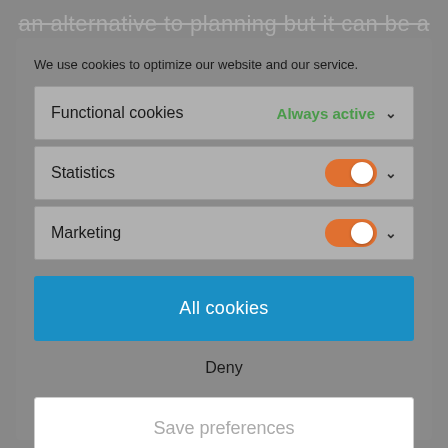an alternative to planning but it can be a
We use cookies to optimize our website and our service.
Functional cookies
Always active
Statistics
Marketing
All cookies
Deny
Save preferences
Cookie policy
Privacy Policy